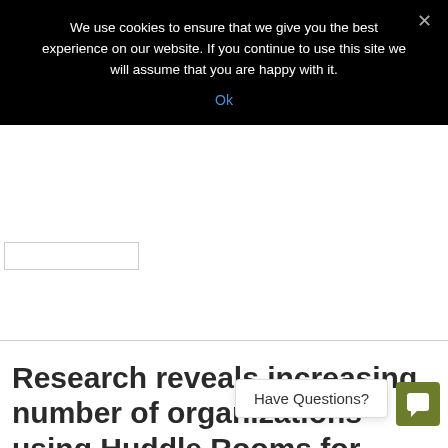We use cookies to ensure that we give you the best experience on our website. If you continue to use this site we will assume that you are happy with it.
Ok
[Figure (screenshot): White rectangular search input box outline]
Research reveals increasing number of organizations using Huddle Rooms for meetings
Have Questions?